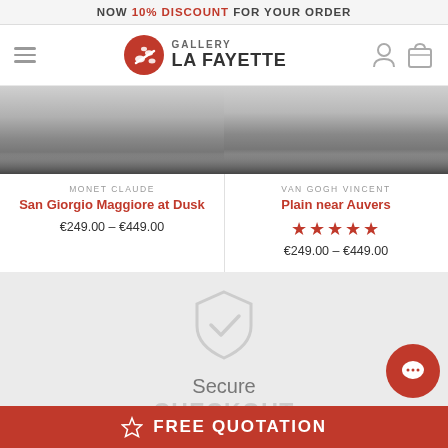NOW 10% DISCOUNT FOR YOUR ORDER
[Figure (logo): Gallery La Fayette logo with palette icon, hamburger menu, user and cart icons]
[Figure (photo): Black and white painting thumbnail - San Giorgio Maggiore at Dusk by Monet Claude]
MONET CLAUDE
San Giorgio Maggiore at Dusk
€249.00 – €449.00
[Figure (photo): Black and white painting thumbnail - Plain near Auvers by Van Gogh Vincent]
VAN GOGH VINCENT
Plain near Auvers
★★★★★
€249.00 – €449.00
[Figure (infographic): Shield checkmark icon for secure checkout section]
Secure
CHECKOUT
☆ FREE QUOTATION